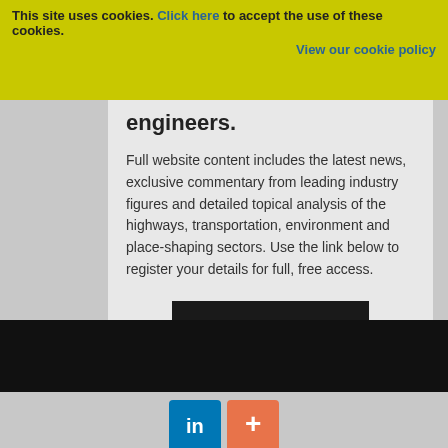This site uses cookies. Click here to accept the use of these cookies. View our cookie policy
engineers.
Full website content includes the latest news, exclusive commentary from leading industry figures and detailed topical analysis of the highways, transportation, environment and place-shaping sectors. Use the link below to register your details for full, free access.
[Figure (other): Black Register button]
Already a registered? Login
[Figure (other): Black navigation/footer bar]
[Figure (other): LinkedIn and Google+ social media icons]